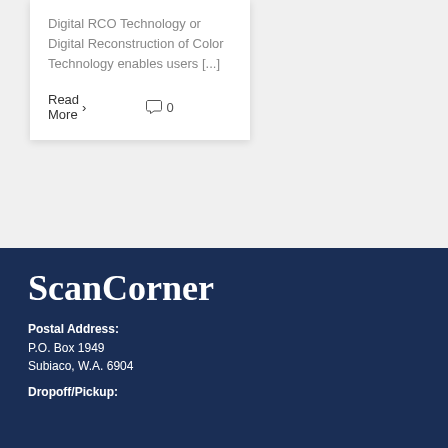Digital RCO Technology or Digital Reconstruction of Color Technology enables users [...]
Read More › 0
ScanCorner
Postal Address:
P.O. Box 1949
Subiaco, W.A. 6904
Dropoff/Pickup: